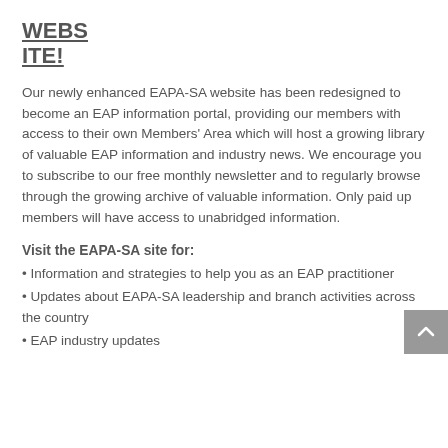WEBSITE!
Our newly enhanced EAPA-SA website has been redesigned to become an EAP information portal, providing our members with access to their own Members' Area which will host a growing library of valuable EAP information and industry news. We encourage you to subscribe to our free monthly newsletter and to regularly browse through the growing archive of valuable information. Only paid up members will have access to unabridged information.
Visit the EAPA-SA site for:
• Information and strategies to help you as an EAP practitioner
• Updates about EAPA-SA leadership and branch activities across the country
• EAP industry updates